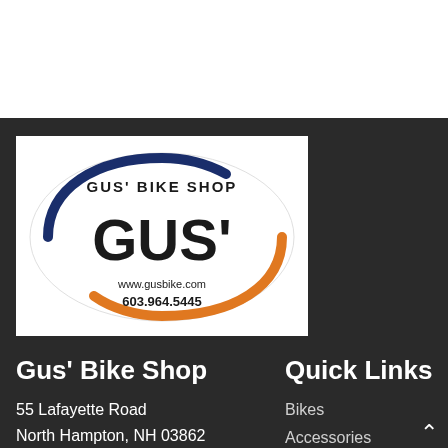[Figure (logo): Gus' Bike Shop oval logo with navy blue and orange arcs, bold 'GUS'' text, 'GUS' BIKE SHOP' text around top, www.gusbike.com and 603.964.5445 at bottom]
Gus' Bike Shop
55 Lafayette Road
North Hampton, NH  03862
Quick Links
Bikes
Accessories
Components